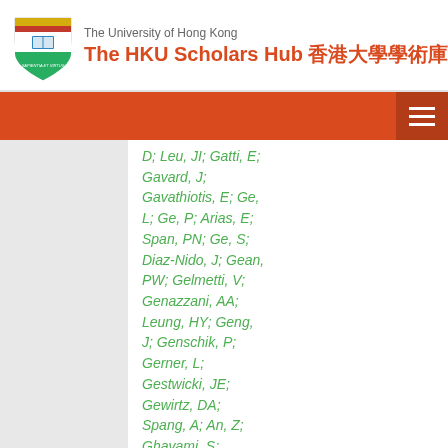The University of Hong Kong — The HKU Scholars Hub 香港大學學術庫
D; Leu, JI; Gatti, E; Gavard, J; Gavathiotis, E; Ge, L; Ge, P; Arias, E; Span, PN; Ge, S; Diaz-Nido, J; Gean, PW; Gelmetti, V; Genazzani, AA; Leung, HY; Geng, J; Genschik, P; Gerner, L; Gestwicki, JE; Gewirtz, DA; Spang, A; An, Z; Ghavami, S; Arimoto, H; Ghigo, E; Ghosh, D;